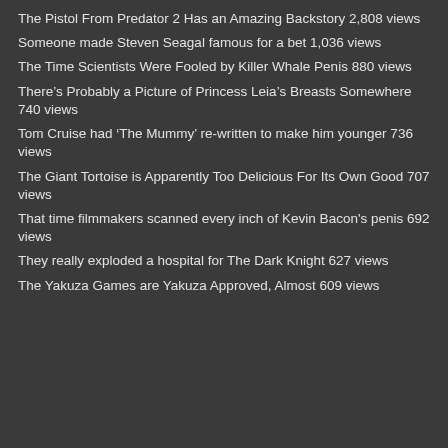The Pistol From Predator 2 Has an Amazing Backstory 2,808 views
Someone made Steven Seagal famous for a bet 1,036 views
The Time Scientists Were Fooled by Killer Whale Penis 880 views
There’s Probably a Picture of Princess Leia’s Breasts Somewhere 740 views
Tom Cruise had ‘The Mummy’ re-written to make him younger 736 views
The Giant Tortoise is Apparently Too Delicious For Its Own Good 707 views
That time filmmakers scanned every inch of Kevin Bacon's penis 692 views
They really exploded a hospital for The Dark Knight 627 views
The Yakuza Games are Yakuza Approved, Almost 609 views